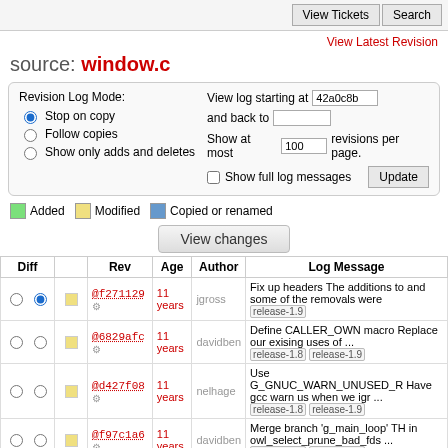View Tickets | Search
View Latest Revision
source: window.c
Revision Log Mode: Stop on copy (selected), Follow copies, Show only adds and deletes. View log starting at 42a0c8b and back to. Show at most 100 revisions per page. Show full log messages. Update.
Added   Modified   Copied or renamed
View changes
| Diff |  | Rev | Age | Author | Log Message |
| --- | --- | --- | --- | --- | --- |
| ○ ● | □ | @f271129 ⚙ | 11 years | jgross | Fix up headers The additions to and some of the removals were
release-1.9 |
| ○ ○ | □ | @6829afc ⚙ | 11 years | davidben | Define CALLER_OWN macro Replace our exising uses of ...
release-1.8  release-1.9 |
| ○ ○ | □ | @d427f08 ⚙ | 11 years | nelhage | Use G_GNUC_WARN_UNUSED_R Have gcc warn us when we igr ...
release-1.8  release-1.9 |
| ○ ○ | □ | @f97c1a6 ⚙ | 11 years | davidben | Merge branch 'g_main_loop' TH in owl_select_prune_bad_fds ...
release-1.8  release-1.9 |
| ○ ○ | □ | @4cc49bc ⚙ | 11 years | davidben | Make the owl_window redraw b GSource (Should this be a ...
1.8  release-1.9 |